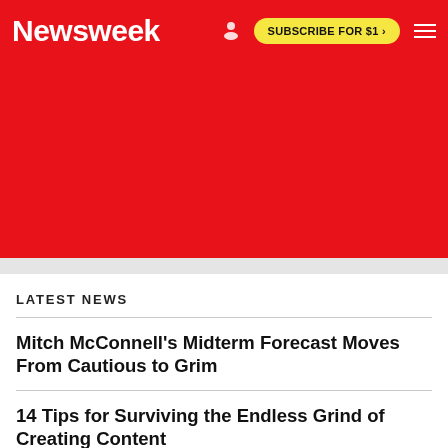Newsweek   SUBSCRIBE FOR $1 >
[Figure (other): Red advertisement/banner area below navigation header]
LATEST NEWS
Mitch McConnell's Midterm Forecast Moves From Cautious to Grim
14 Tips for Surviving the Endless Grind of Creating Content
Teens Praised for Repairing Wall Damaged During Friend's House Party